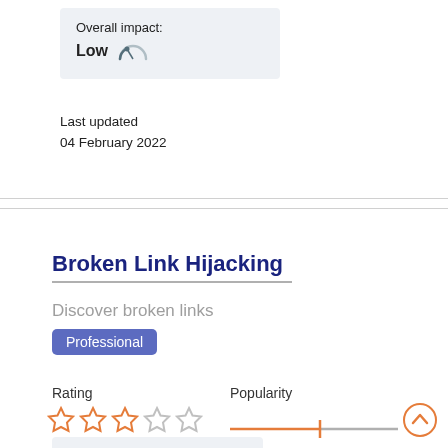[Figure (infographic): Overall impact gauge showing 'Low' with a small speedometer icon pointing left]
Last updated
04 February 2022
Broken Link Hijacking
Discover broken links
Professional
Rating
[Figure (infographic): Three filled orange outline stars and two empty outline stars (3 out of 5 rating)]
Popularity
[Figure (infographic): Popularity slider bar with orange line and vertical marker at roughly the midpoint]
Estimated system impact